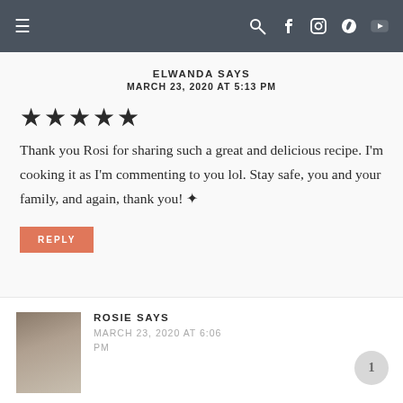Navigation bar with hamburger menu and social icons (search, facebook, instagram, pinterest, youtube)
ELWANDA SAYS
MARCH 23, 2020 AT 5:13 PM
★★★★★
Thank you Rosi for sharing such a great and delicious recipe. I'm cooking it as I'm commenting to you lol. Stay safe, you and your family, and again, thank you! ✿
REPLY
ROSIE SAYS
MARCH 23, 2020 AT 6:06 PM